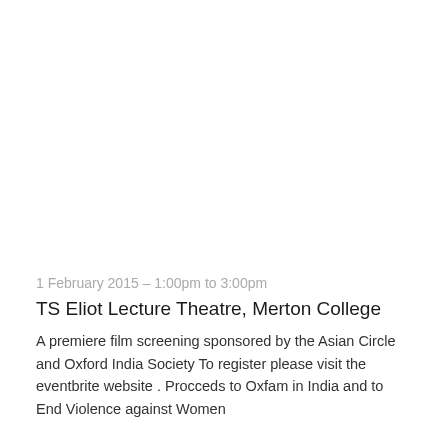1 February 2015 – 1:00pm to 3:00pm
TS Eliot Lecture Theatre, Merton College
A premiere film screening sponsored by the Asian Circle and Oxford India Society To register please visit the eventbrite website . Procceds to Oxfam in India and to End Violence against Women